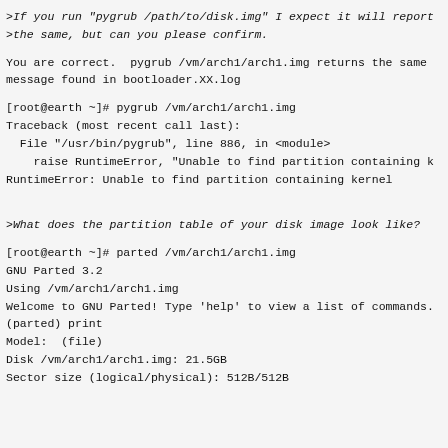>If you run "pygrub /path/to/disk.img" I expect it will report
>the same, but can you please confirm.
You are correct.  pygrub /vm/arch1/arch1.img returns the same
message found in bootloader.XX.log
[root@earth ~]# pygrub /vm/arch1/arch1.img
Traceback (most recent call last):
  File "/usr/bin/pygrub", line 886, in <module>
    raise RuntimeError, "Unable to find partition containing k
RuntimeError: Unable to find partition containing kernel
>What does the partition table of your disk image look like?
[root@earth ~]# parted /vm/arch1/arch1.img
GNU Parted 3.2
Using /vm/arch1/arch1.img
Welcome to GNU Parted! Type 'help' to view a list of commands.
(parted) print
Model:  (file)
Disk /vm/arch1/arch1.img: 21.5GB
Sector size (logical/physical): 512B/512B